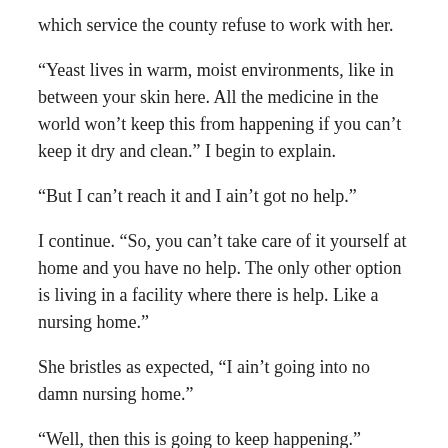which service the county refuse to work with her.
“Yeast lives in warm, moist environments, like in between your skin here. All the medicine in the world won’t keep this from happening if you can’t keep it dry and clean.” I begin to explain.
“But I can’t reach it and I ain’t got no help.”
I continue. “So, you can’t take care of it yourself at home and you have no help. The only other option is living in a facility where there is help. Like a nursing home.”
She bristles as expected, “I ain’t going into no damn nursing home.”
“Well, then this is going to keep happening.”